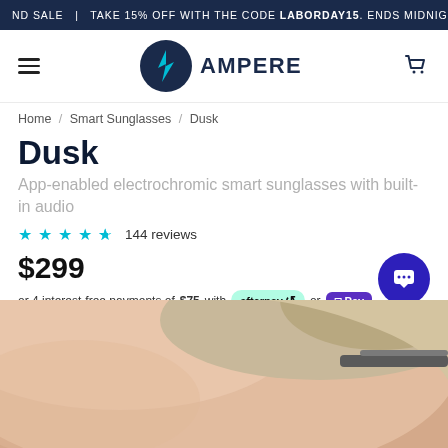ND SALE  |  TAKE 15% OFF WITH THE CODE LABORDAY15. ENDS MIDNIGHT 9
[Figure (logo): Ampere brand logo with teal lightning bolt in dark circle and AMPERE text]
Home / Smart Sunglasses / Dusk
Dusk
App-enabled electrochromic smart sunglasses with built-in audio
★★★★½ 144 reviews
$299
or 4 interest-free payments of $75 with afterpay or O Pay
[Figure (photo): Close-up photo of person wearing smart sunglasses, showing side of face and temple area]